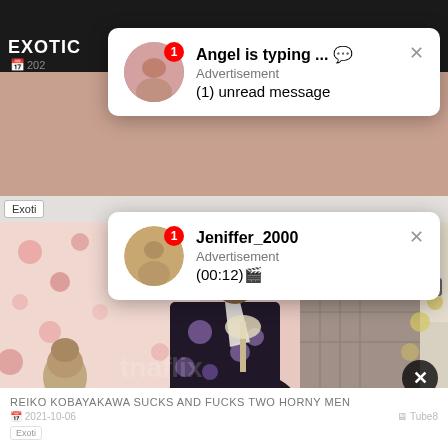EXOTIC
[Figure (screenshot): Popup notification 1: Avatar with red badge '1', title 'Angel is typing ... 💬', subtitle 'Advertisement', message '(1) unread message', close X button]
2021-10-06
Tube8
Exoti
[Figure (screenshot): Popup notification 2: Avatar with red badge '1', title 'Jeniffer_2000', subtitle 'Advertisement', message '(00:12)🎬', close X button]
12:17
[Figure (photo): Video thumbnail: couple embracing and kissing, woman in floral kimono, man in plaid shirt, floral wallpaper background]
REIKO KOBAYAKAWA SUCKS AND FUCKS TWO HORNY MEN
2021-10-06
Tube8